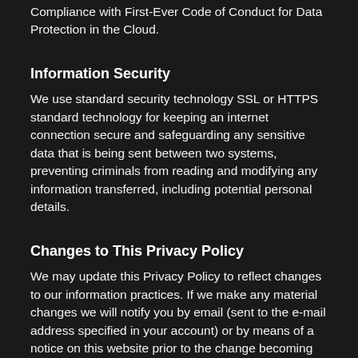Compliance with First-Ever Code of Conduct for Data Protection in the Cloud.
Information Security
We use standard security technology SSL or HTTPS standard technology for keeping an internet connection secure and safeguarding any sensitive data that is being sent between two systems, preventing criminals from reading and modifying any information transferred, including potential personal details.
Changes to This Privacy Policy
We may update this Privacy Policy to reflect changes to our information practices. If we make any material changes we will notify you by email (sent to the e-mail address specified in your account) or by means of a notice on this website prior to the change becoming effective.